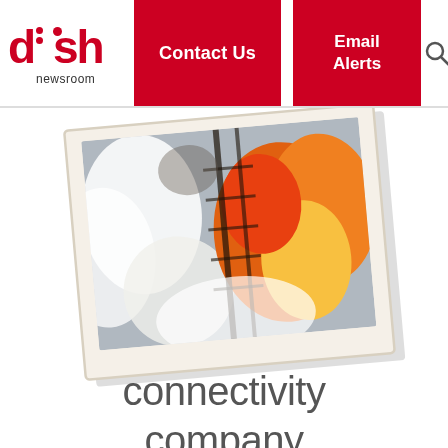DISH Newsroom | Contact Us | Email Alerts
[Figure (photo): Polaroid-style photo of a rocket launch with orange flames and smoke, tilted slightly, with a white border like an old photograph]
We created a connectivity company